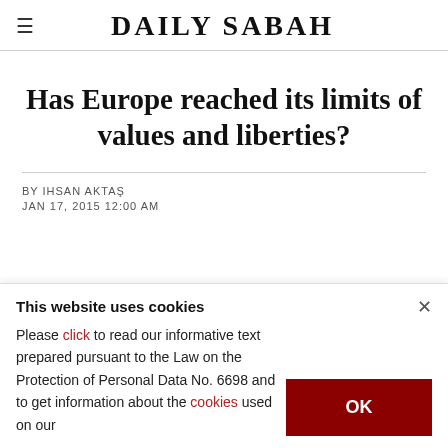DAILY SABAH
Has Europe reached its limits of values and liberties?
BY IHSAN AKTAŞ
JAN 17, 2015 12:00 AM
This website uses cookies
Please click to read our informative text prepared pursuant to the Law on the Protection of Personal Data No. 6698 and to get information about the cookies used on our